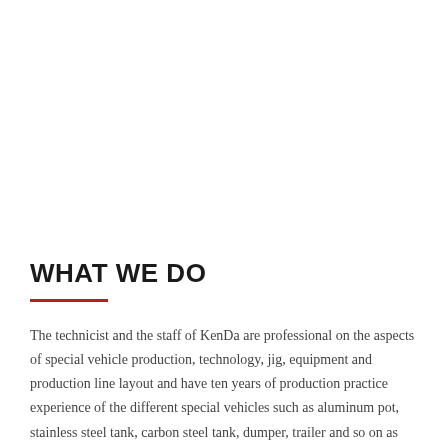WHAT WE DO
The technicist and the staff of KenDa are professional on the aspects of special vehicle production, technology, jig, equipment and production line layout and have ten years of production practice experience of the different special vehicles such as aluminum pot, stainless steel tank, carbon steel tank, dumper, trailer and so on as well as have the deeper research